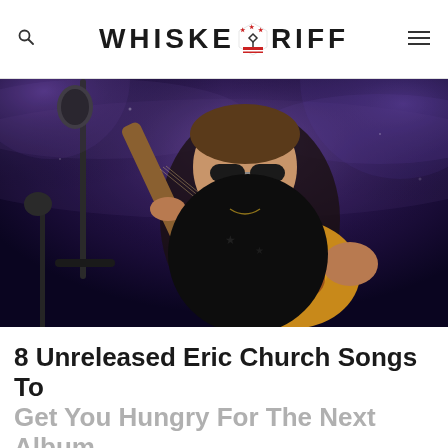WHISKEY RIFF
[Figure (photo): Eric Church performing on stage, playing acoustic guitar, wearing sunglasses and an American flag scarf/bandana, smiling, with dramatic stage lighting in purple hues, microphone in foreground]
8 Unreleased Eric Church Songs To Get You Hungry For The Next Album